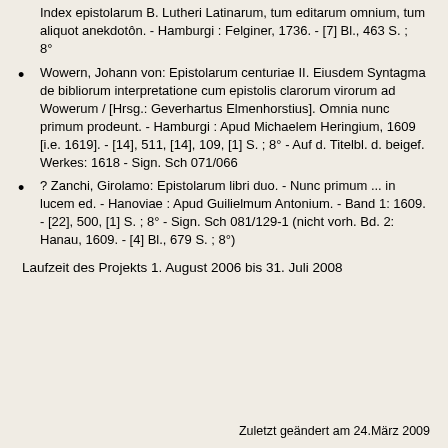Index epistolarum B. Lutheri Latinarum, tum editarum omnium, tum aliquot anekdotôn. - Hamburgi : Felginer, 1736. - [7] Bl., 463 S. ; 8°
Wowern, Johann von: Epistolarum centuriae II. Eiusdem Syntagma de bibliorum interpretatione cum epistolis clarorum virorum ad Wowerum / [Hrsg.: Geverhartus Elmenhorstius]. Omnia nunc primum prodeunt. - Hamburgi : Apud Michaelem Heringium, 1609 [i.e. 1619]. - [14], 511, [14], 109, [1] S. ; 8° - Auf d. Titelbl. d. beigef. Werkes: 1618 - Sign. Sch 071/066
? Zanchi, Girolamo: Epistolarum libri duo. - Nunc primum ... in lucem ed. - Hanoviae : Apud Guilielmum Antonium. - Band 1: 1609. - [22], 500, [1] S. ; 8° - Sign. Sch 081/129-1 (nicht vorh. Bd. 2: Hanau, 1609. - [4] Bl., 679 S. ; 8°)
Laufzeit des Projekts 1. August 2006 bis 31. Juli 2008
Zuletzt geändert am 24.März 2009